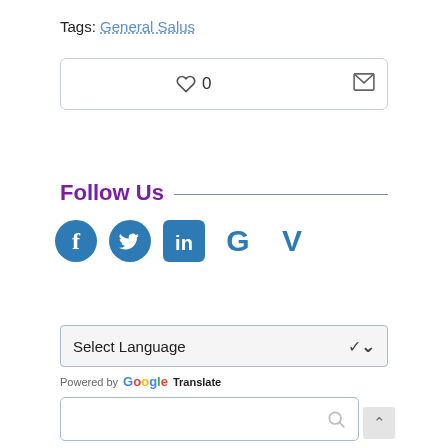Tags: General Salus
[Figure (other): Like/heart button box with count '0' and email/envelope icon on the right]
Follow Us
[Figure (infographic): Social media icons: Facebook, Twitter, LinkedIn, Google+, Vimeo in blue]
[Figure (other): Select Language dropdown with chevron, powered by Google Translate]
[Figure (other): Search box with magnifying glass icon and scroll-to-top arrow button]